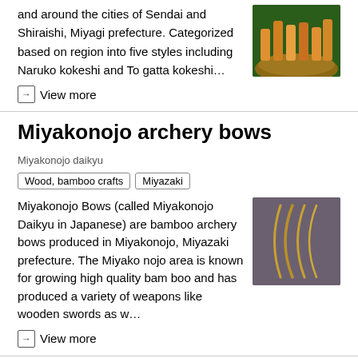and around the cities of Sendai and Shiraishi, Miyagi prefecture. Categorized based on region into five styles including Naruko kokeshi and Togatta kokeshi…
→ View more
Miyakonojo archery bows  Miyakonojo daikyu
Wood, bamboo crafts
Miyazaki
Miyakonojo Bows (called Miyakonojo Daikyu in Japanese) are bamboo archery bows produced in Miyakonojo, Miyazaki prefecture. The Miyakonojo area is known for growing high quality bamboo and has produced a variety of weapons like wooden swords as w…
[Figure (photo): Photo of bamboo archery bows standing upright against a grey background]
→ View more
Edo-kimekomi doll  Edo kimekomi ningyo
Dolls, kokeshi
Saitama